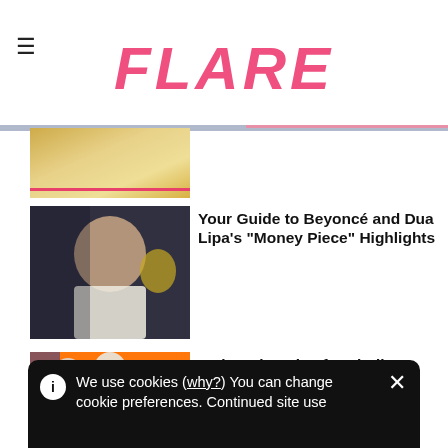FLARE
[Figure (photo): Partial photo of a person with blonde highlighted hair, cropped at top]
[Figure (photo): Photo of Dua Lipa with blonde hair and dark makeup at the Grammys]
Your Guide to Beyoncé and Dua Lipa's "Money Piece" Highlights
[Figure (photo): Photo of people wearing jumpsuits on an orange background]
3 Shopping Tips for Finding a Jumpsuit That Fits
We use cookies (why?) You can change cookie preferences. Continued site use